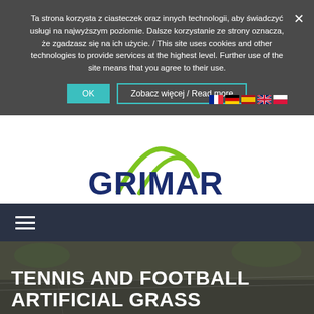Ta strona korzysta z ciasteczek oraz innych technologii, aby świadczyć usługi na najwyższym poziomie. Dalsze korzystanie ze strony oznacza, że zgadzasz się na ich użycie. / This site uses cookies and other technologies to provide services at the highest level. Further use of the site means that you agree to their use.
[Figure (logo): GRIMAR logo with dark blue text and green arc/grass graphic above letters]
[Figure (infographic): Dark navy navigation bar with hamburger menu icon (three white horizontal lines)]
TENNIS AND FOOTBALL ARTIFICIAL GRASS